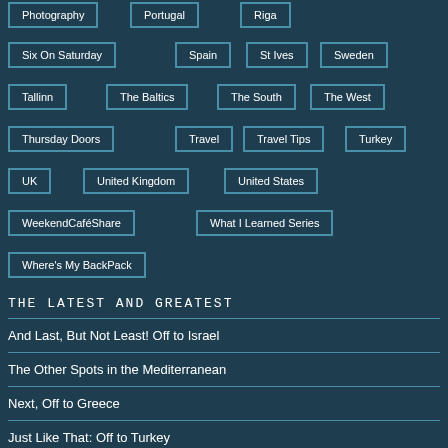Photography
Portugal
Riga
Six On Saturday
Spain
St Ives
Sweden
Tallinn
The Baltics
The South
The West
Thursday Doors
Travel
Travel Tips
Turkey
UK
United Kingdom
United States
WeekendCaféShare
What I Learned Series
Where's My BackPack
THE LATEST AND GREATEST
And Last, But Not Least! Off to Israel
The Other Spots in the Mediterranean
Next, Off to Greece
Just Like That: Off to Turkey